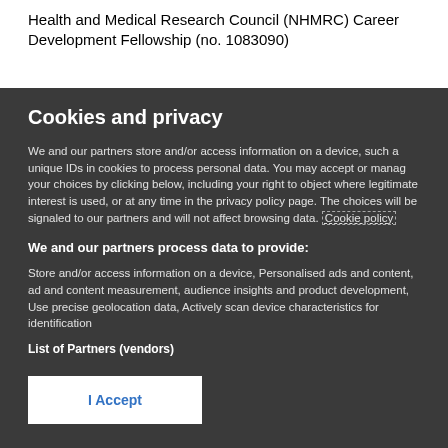Health and Medical Research Council (NHMRC) Career Development Fellowship (no. 1083090)
Cookies and privacy
We and our partners store and/or access information on a device, such as unique IDs in cookies to process personal data. You may accept or manage your choices by clicking below, including your right to object where legitimate interest is used, or at any time in the privacy policy page. These choices will be signaled to our partners and will not affect browsing data. Cookie policy
We and our partners process data to provide:
Store and/or access information on a device, Personalised ads and content, ad and content measurement, audience insights and product development, Use precise geolocation data, Actively scan device characteristics for identification
List of Partners (vendors)
I Accept